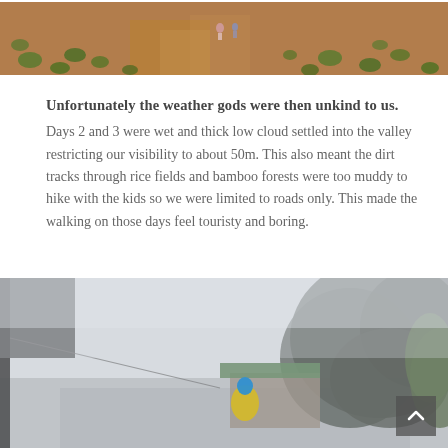[Figure (photo): Top portion of a photo showing a dirt path through agricultural fields with small green plants, reddish-brown soil, and a person visible in the distance]
Unfortunately the weather gods were then unkind to us. Days 2 and 3 were wet and thick low cloud settled into the valley restricting our visibility to about 50m. This also meant the dirt tracks through rice fields and bamboo forests were too muddy to hike with the kids so we were limited to roads only. This made the walking on those days feel touristy and boring.
[Figure (photo): Misty foggy road scene with a person wearing a yellow jacket and blue hat, a small building with a green roof, dense trees barely visible through thick fog, and a structure on the left edge]